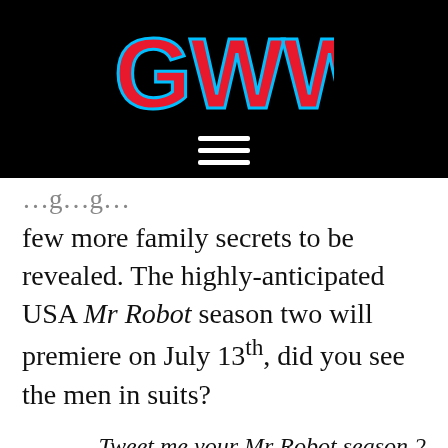[Figure (logo): GWW logo in red with blue outline on black background, with hamburger menu icon below]
few more family secrets to be revealed. The highly-anticipated USA Mr Robot season two will premiere on July 13th, did you see the men in suits?
Tweet me your Mr Robot season 2 theories
@sjbelmont
Find more Mr Robot news and season one